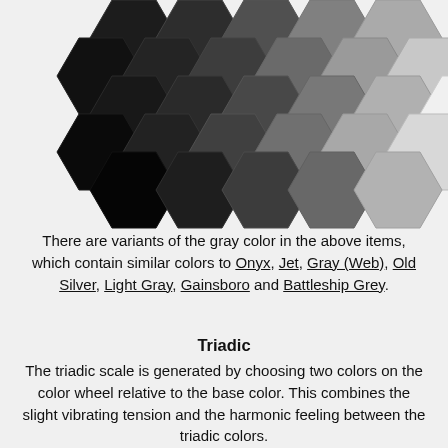[Figure (illustration): Grid of hexagons in varying shades of gray from near-black on the left to white on the right, arranged in a honeycomb pattern]
There are variants of the gray color in the above items, which contain similar colors to Onyx, Jet, Gray (Web), Old Silver, Light Gray, Gainsboro and Battleship Grey.
Triadic
The triadic scale is generated by choosing two colors on the color wheel relative to the base color. This combines the slight vibrating tension and the harmonic feeling between the triadic colors.
[Figure (illustration): Partial row of hexagons at the bottom, in varying shades of gray]